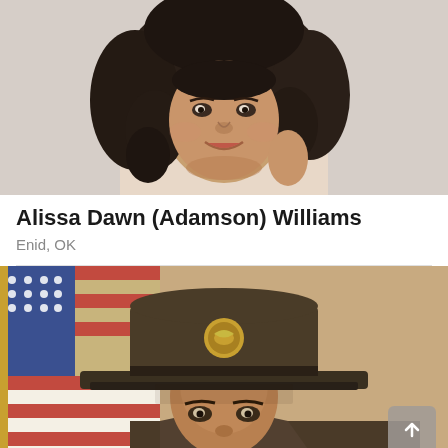[Figure (photo): Portrait photo of a young woman with voluminous curly dark hair, smiling, facing the camera. Appears to be a yearbook or professional portrait photo from the late 1980s or early 1990s.]
Alissa Dawn (Adamson) Williams
Enid, OK
[Figure (photo): Portrait photo of a man wearing a brown military drill sergeant hat with a gold badge/emblem, with an American flag visible in the background. Appears to be a formal military portrait photo.]